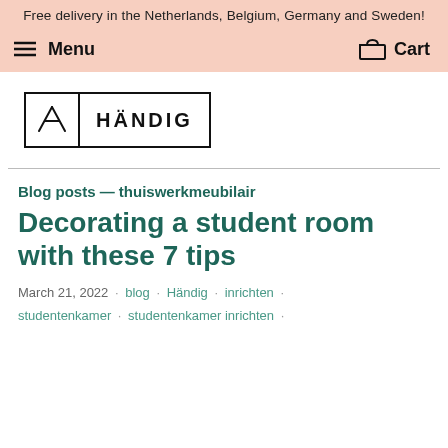Free delivery in the Netherlands, Belgium, Germany and Sweden!
Menu   Cart
[Figure (logo): Händig logo: a rectangular box with a stylized A symbol on the left and the text HÄNDIG on the right]
Blog posts — thuiswerkmeubilair
Decorating a student room with these 7 tips
March 21, 2022 · blog · Händig · inrichten · studentenkamer · studentenkamer inrichten ·